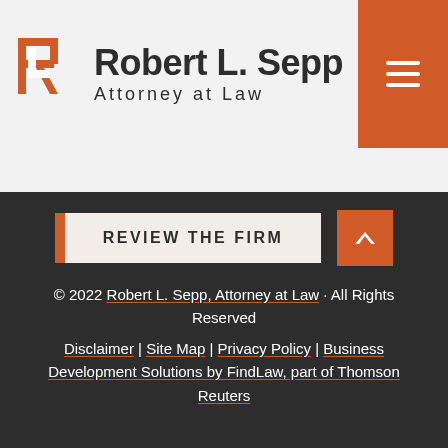[Figure (logo): Robert L. Sepp Attorney at Law logo with stylized R/L icon in orange and dark text]
CONTACT THE FIRM FOR HELP
REVIEW THE FIRM
© 2022 Robert L. Sepp, Attorney at Law · All Rights Reserved
Disclaimer | Site Map | Privacy Policy | Business Development Solutions by FindLaw, part of Thomson Reuters